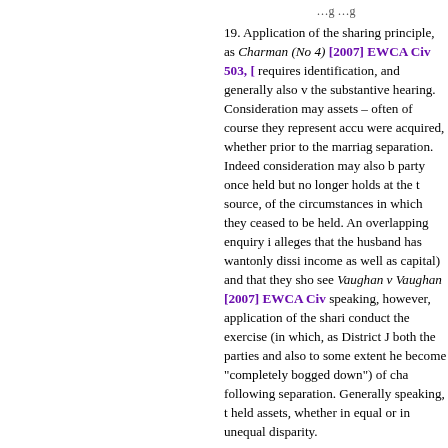...g ...g
19. Application of the sharing principle, as discussed in Charman (No 4) [2007] EWCA Civ 503, [...] requires identification, and generally also v... the substantive hearing. Consideration may... assets – often of course they represent accu... were acquired, whether prior to the marria... separation. Indeed consideration may also b... party once held but no longer holds at the t... source, of the circumstances in which they ... ceased to be held. An overlapping enquiry ... alleges that the husband has wantonly dissi... income as well as capital) and that they sho... see Vaughan v Vaughan [2007] EWCA Civ... speaking, however, application of the shari... conduct the exercise (in which, as District ... both the parties and also to some extent he... become "completely bogged down") of cha... following separation. Generally speaking, t... held assets, whether in equal or in unequal ... disparity.
20. Thus the district judge's calculation of t... by the husband to the wife included an erro... husband, in the net sum of £15,000.
21. At the hearing Miss Scotland valiantly s... permission to adduce fresh evidence arising... ...